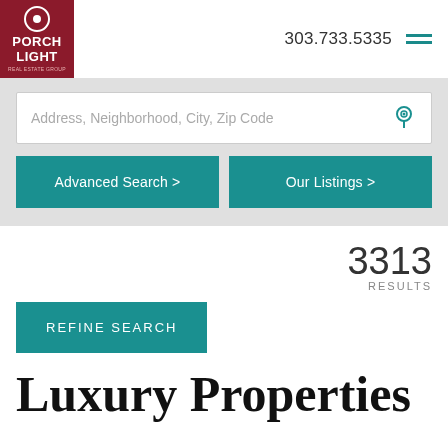Porch Light Real Estate Group — 303.733.5335
Address, Neighborhood, City, Zip Code
Advanced Search >
Our Listings >
3313 RESULTS
REFINE SEARCH
Luxury Properties